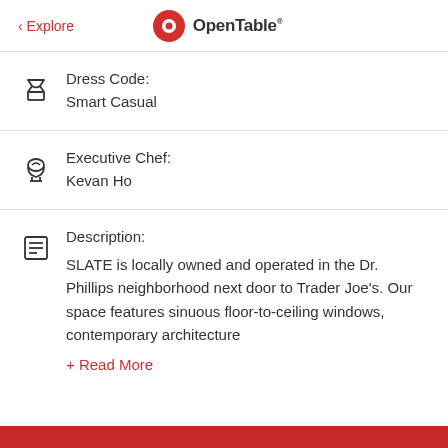< Explore | OpenTable
Dress Code:
Smart Casual
Executive Chef:
Kevan Ho
Description:
SLATE is locally owned and operated in the Dr. Phillips neighborhood next door to Trader Joe's. Our space features sinuous floor-to-ceiling windows, contemporary architecture
+ Read More